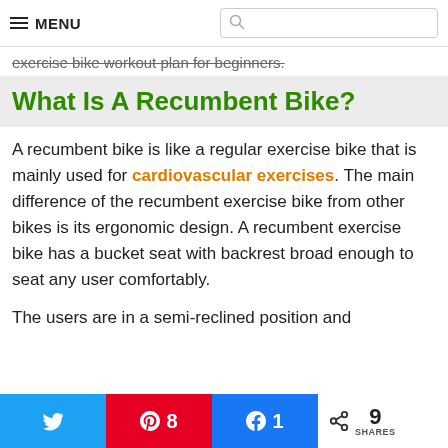MENU [search box]
exercise bike workout plan for beginners.
What Is A Recumbent Bike?
A recumbent bike is like a regular exercise bike that is mainly used for cardiovascular exercises. The main difference of the recumbent exercise bike from other bikes is its ergonomic design. A recumbent exercise bike has a bucket seat with backrest broad enough to seat any user comfortably.
The users are in a semi-reclined position and
Twitter share | Pinterest 8 | Facebook 1 | Share 9 SHARES